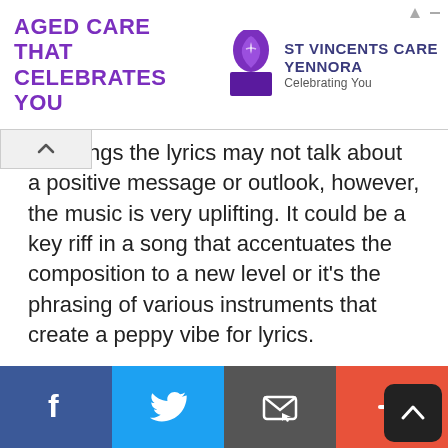[Figure (other): Advertisement banner for St Vincents Care Yennora with purple logo and text 'AGED CARE THAT CELEBRATES YOU']
me songs the lyrics may not talk about a positive message or outlook, however, the music is very uplifting. It could be a key riff in a song that accentuates the composition to a new level or it's the phrasing of various instruments that create a peppy vibe for lyrics.
[Figure (other): Social sharing bar at the bottom with Facebook, Twitter, Email, and plus buttons, and a scroll-to-top button]